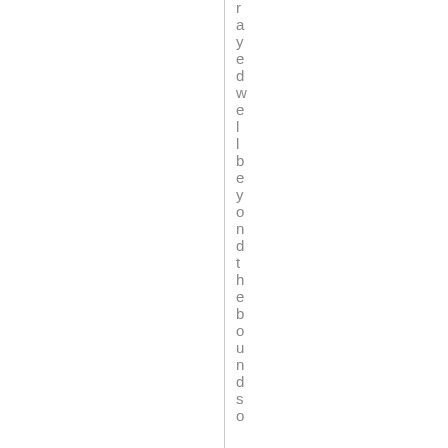r a y e d w e l l b e y o n d t h e b o u n d s o